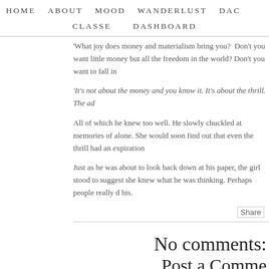HOME   ABOUT   MOOD   WANDERLUST   DAC   CLASSE   DASHBOARD
'What joy does money and materialism bring you?  Don't you want little money but all the freedom in the world? Don't you want to fall in
'It's not about the money and you know it. It's about the thrill. The ad
All of which he knew too well. He slowly chuckled at memories of alone. She would soon find out that even the thrill had an expiration
Just as he was about to look back down at his paper, the girl stood to suggest she knew what he was thinking. Perhaps people really d his.
[Figure (other): Share button/image]
No comments:
Post a Comme